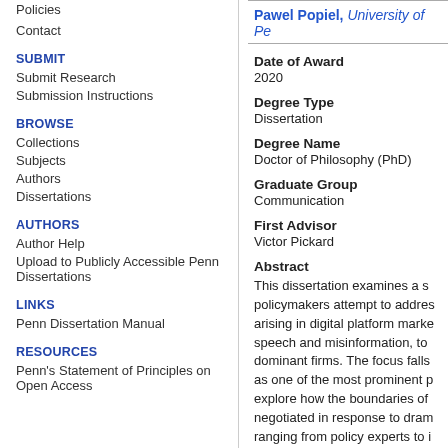Policies
Contact
SUBMIT
Submit Research
Submission Instructions
BROWSE
Collections
Subjects
Authors
Dissertations
AUTHORS
Author Help
Upload to Publicly Accessible Penn Dissertations
LINKS
Penn Dissertation Manual
RESOURCES
Penn's Statement of Principles on Open Access
Pawel Popiel, University of Pe…
Date of Award
2020
Degree Type
Dissertation
Degree Name
Doctor of Philosophy (PhD)
Graduate Group
Communication
First Advisor
Victor Pickard
Abstract
This dissertation examines a s policymakers attempt to addres arising in digital platform marke speech and misinformation, to dominant firms. The focus falls as one of the most prominent p explore how the boundaries of negotiated in response to dram ranging from policy experts to i industries themselves. Drawing